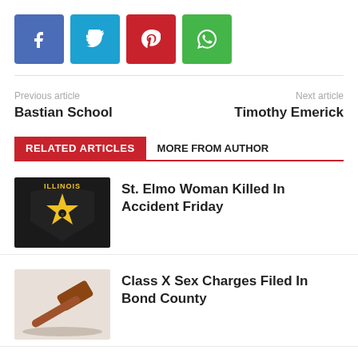[Figure (infographic): Social share buttons: Facebook (blue), Twitter (cyan), Pinterest (red), WhatsApp (green)]
Previous article
Bastian School
Next article
Timothy Emerick
RELATED ARTICLES    MORE FROM AUTHOR
[Figure (photo): Illinois State Police badge logo — black background with yellow sheriff star emblem and ILLINOIS text]
St. Elmo Woman Killed In Accident Friday
[Figure (photo): Wooden gavel on white surface]
Class X Sex Charges Filed In Bond County